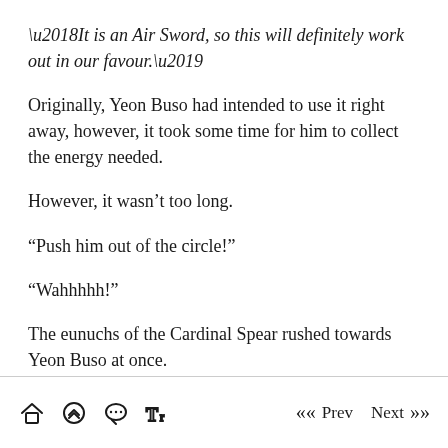‘It is an Air Sword, so this will definitely work out in our favour.’
Originally, Yeon Buso had intended to use it right away, however, it took some time for him to collect the energy needed.
However, it wasn’t too long.
“Push him out of the circle!”
“Wahhhhh!”
The eunuchs of the Cardinal Spear rushed towards Yeon Buso at once.
Home | Up | Chat | Fonts | Prev | Next